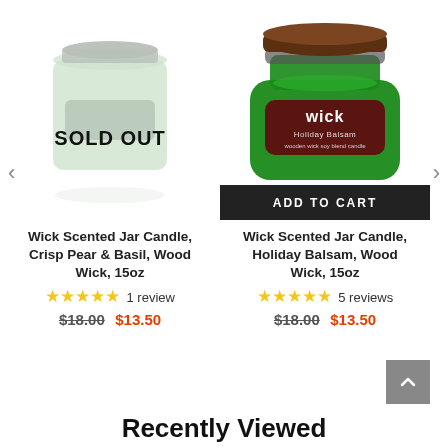[Figure (photo): Blurred light green glass jar candle with silver lid on white background, with SOLD OUT text overlay]
SOLD OUT
[Figure (photo): Green glass jar candle with dark wood lid, labeled 'wick Holiday Balsam, wooden wick soy blend candle']
ADD TO CART
Wick Scented Jar Candle, Holiday Balsam, Wood Wick, 15oz
★★★★★ 5 reviews
$18.00 $13.50
Wick Scented Jar Candle, Crisp Pear & Basil, Wood Wick, 15oz
★★★★★ 1 review
$18.00 $13.50
Recently Viewed